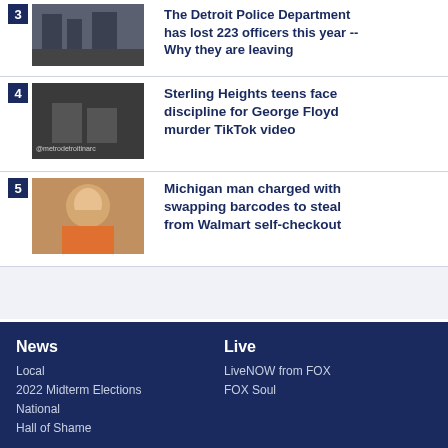[Figure (photo): Police/military officers in outdoor scene]
The Detroit Police Department has lost 223 officers this year -- Why they are leaving
[Figure (photo): Feet/shoes closeup with @metrodetroitinarc watermark]
Sterling Heights teens face discipline for George Floyd murder TikTok video
[Figure (photo): Mugshot of a man in orange prison jumpsuit]
Michigan man charged with swapping barcodes to steal from Walmart self-checkout
News
Local
2022 Midterm Elections
National
Hall of Shame
Live
LiveNOW from FOX
FOX Soul